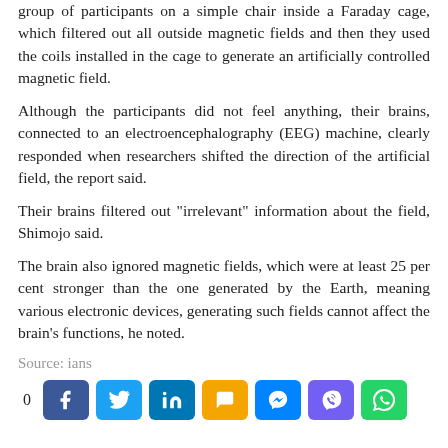group of participants on a simple chair inside a Faraday cage, which filtered out all outside magnetic fields and then they used the coils installed in the cage to generate an artificially controlled magnetic field.
Although the participants did not feel anything, their brains, connected to an electroencephalography (EEG) machine, clearly responded when researchers shifted the direction of the artificial field, the report said.
Their brains filtered out "irrelevant" information about the field, Shimojo said.
The brain also ignored magnetic fields, which were at least 25 per cent stronger than the one generated by the Earth, meaning various electronic devices, generating such fields cannot affect the brain's functions, he noted.
Source: ians